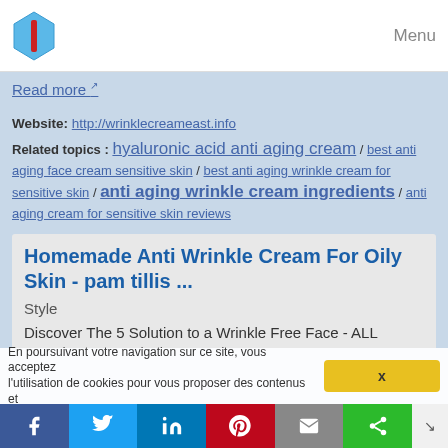Menu
Read more ↗
Website: http://wrinklecreameast.info
Related topics : hyaluronic acid anti aging cream / best anti aging face cream sensitive skin / best anti aging wrinkle cream for sensitive skin / anti aging wrinkle cream ingredients / anti aging cream for sensitive skin reviews
Homemade Anti Wrinkle Cream For Oily Skin - pam tillis ...
Style
Discover The 5 Solution to a Wrinkle Free Face - ALL EXPOSED TODAY!
Various sources across the internet have exposed a HUGE celebrity secret to erase wrinkles - without botox or surgery!
How do Hollywood starlets look so radiant and youthful
En poursuivant votre navigation sur ce site, vous acceptez l'utilisation de cookies pour vous proposer des contenus et
x